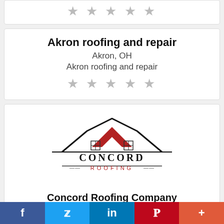[Figure (other): Partial top card showing star rating (5 grey stars)]
Akron roofing and repair
Akron, OH
Akron roofing and repair
[Figure (other): 5 grey star rating icons]
[Figure (logo): Concord Roofing Company logo — house roofline with red chevron, text CONCORD ROOFING below]
Concord Roofing Company
f  Twitter  in  Pinterest  +